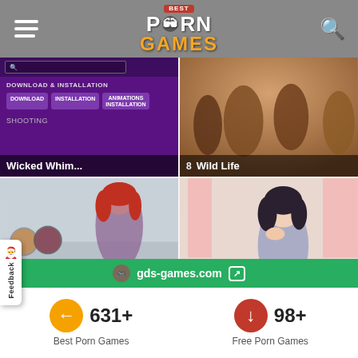Best Porn Games
[Figure (screenshot): Game card: Wicked Whim - purple download/installation screen with buttons for Download, Installation, Animations Installation]
[Figure (screenshot): Game card: Wild Life - 3D animated characters scene, numbered 8]
[Figure (screenshot): Game card: Tales Of An - anime style character with red hair]
[Figure (screenshot): Game card: VR Kanojo style - 3D anime girl in room, numbered 18]
gds-games.com
631+
Best Porn Games
98+
Free Porn Games